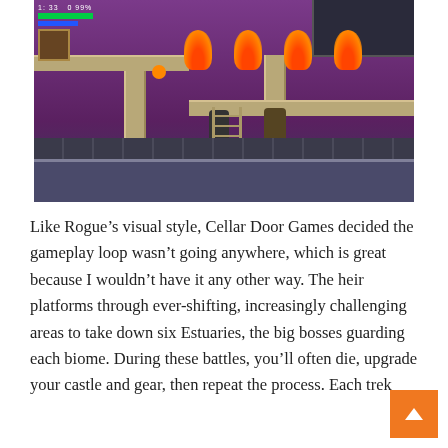[Figure (screenshot): Screenshot of a 2D side-scrolling action platformer video game (Rogue Legacy style), showing a purple-toned dungeon environment with platforms, pillars, decorative torch/tulip motifs, two characters, and a HUD overlay in the top-left corner.]
Like Rogue’s visual style, Cellar Door Games decided the gameplay loop wasn’t going anywhere, which is great because I wouldn’t have it any other way. The heir platforms through ever-shifting, increasingly challenging areas to take down six Estuaries, the big bosses guarding each biome. During these battles, you’ll often die, upgrade your castle and gear, then repeat the process. Each trek